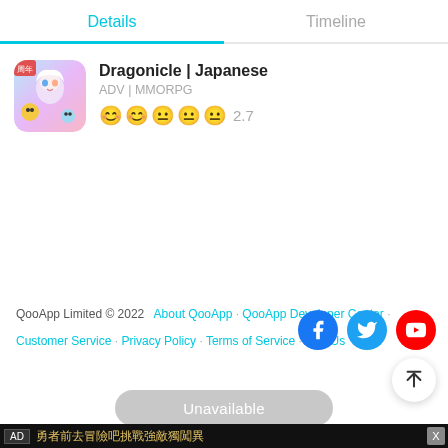Details | Timeline
[Figure (screenshot): App icon for Dragonicle Japanese - anime style game art with white-haired character and colorful creatures]
Dragonicle | Japanese
ADV | MMORPG
😊😊😐😐😐 2.7
QooApp Limited © 2022 · About QooApp · QooApp Developer Center · Customer Service · Privacy Policy · Terms of Service · Join Us
Unavailable